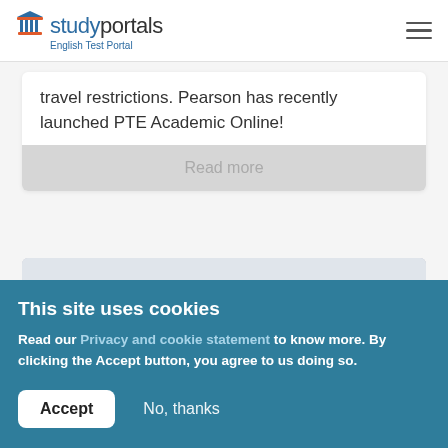studyportals English Test Portal
travel restrictions. Pearson has recently launched PTE Academic Online!
Read more
[Figure (photo): Person holding a stack of books in front of their face against a light grey background]
This site uses cookies
Read our Privacy and cookie statement to know more. By clicking the Accept button, you agree to us doing so.
Accept
No, thanks